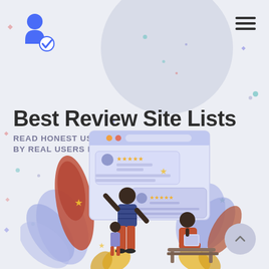[Figure (logo): Blue user/person icon with a checkmark badge, representing a verified reviewer logo]
Best Review Site Lists
READ HONEST USER REVIEWS PUBLISHED BY REAL USERS IN 2020
[Figure (illustration): Flat design illustration showing two people interacting with a review website interface. A man standing pointing at review cards with star ratings, a woman sitting on a bench reading on a tablet, surrounded by decorative leaves and plants in purple, blue, red/orange, and yellow colors.]